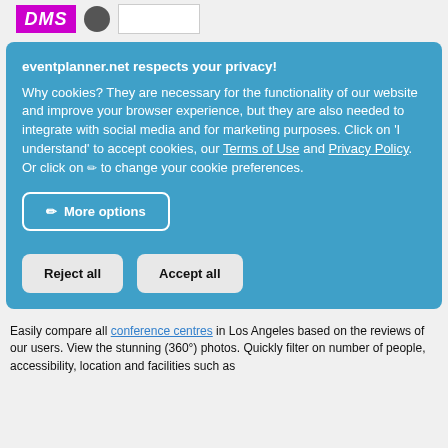[Figure (logo): DMS logo in pink/magenta and a circular logo with a white box]
eventplanner.net respects your privacy! Why cookies? They are necessary for the functionality of our website and improve your browser experience, but they are also needed to integrate with social media and for marketing purposes. Click on 'I understand' to accept cookies, our Terms of Use and Privacy Policy. Or click on ✏ to change your cookie preferences.
More options
Reject all
Accept all
Easily compare all conference centres in Los Angeles based on the reviews of our users. View the stunning (360°) photos. Quickly filter on number of people, accessibility, location and facilities such as